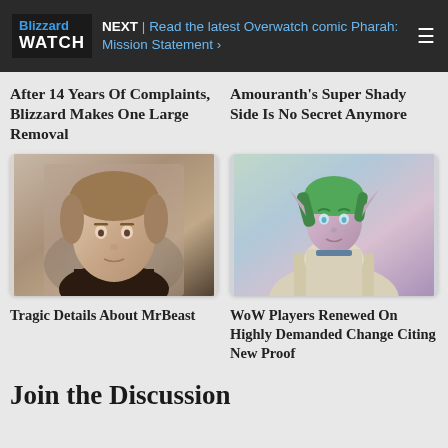Blizzard WATCH — NEXT | Read the latest Overwatch comic Pharah: Mission Statement
After 14 Years Of Complaints, Blizzard Makes One Large Removal
Amouranth's Super Shady Side Is No Secret Anymore
[Figure (photo): Photo of MrBeast, a young man with light brown hair and slight beard]
[Figure (photo): World of Warcraft character illustration: a night elf with green hair and purple skin in armor]
Tragic Details About MrBeast
WoW Players Renewed On Highly Demanded Change Citing New Proof
Join the Discussion